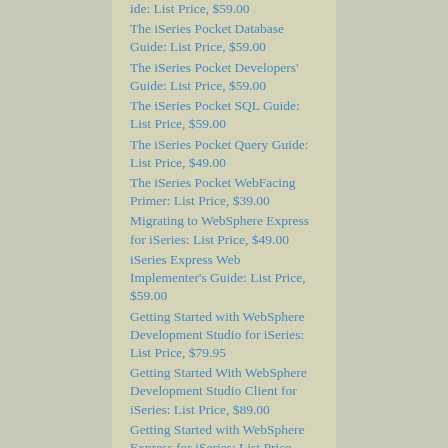The iSeries Pocket Database Guide: List Price, $59.00
The iSeries Pocket Developers' Guide: List Price, $59.00
The iSeries Pocket SQL Guide: List Price, $59.00
The iSeries Pocket Query Guide: List Price, $49.00
The iSeries Pocket WebFacing Primer: List Price, $39.00
Migrating to WebSphere Express for iSeries: List Price, $49.00
iSeries Express Web Implementer's Guide: List Price, $59.00
Getting Started with WebSphere Development Studio for iSeries: List Price, $79.95
Getting Started With WebSphere Development Studio Client for iSeries: List Price, $89.00
Getting Started with WebSphere Express for iSeries: List Price, $49.00